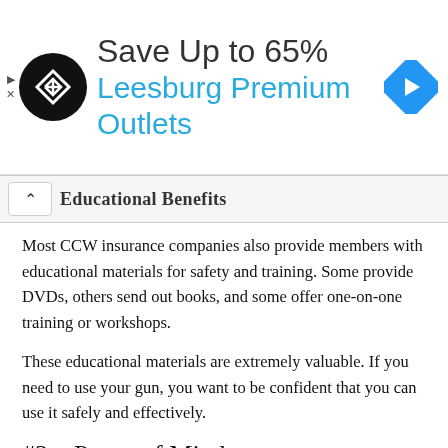[Figure (other): Advertisement banner: Save Up to 65% Leesburg Premium Outlets with logo and navigation arrow icon]
Educational Benefits
Most CCW insurance companies also provide members with educational materials for safety and training. Some provide DVDs, others send out books, and some offer one-on-one training or workshops.
These educational materials are extremely valuable. If you need to use your gun, you want to be confident that you can use it safely and effectively.
#3 – Peace of Mind
Perhaps the greatest benefit of concealed carry insurance is peace of mind. If you're forced to use your weapon in self-